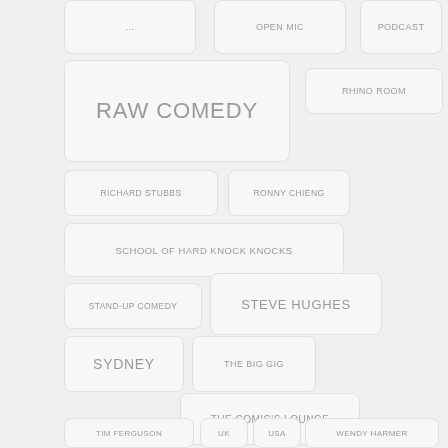OPEN MIC
PODCAST
RHINO ROOM
RAW COMEDY
RICHARD STUBBS
RONNY CHIENG
SCHOOL OF HARD KNOCK KNOCKS
STAND-UP COMEDY
STEVE HUGHES
SYDNEY
THE BIG GIG
THE COMIC'S LOUNGE
TIM FERGUSON
UK
USA
WENDY HARMER